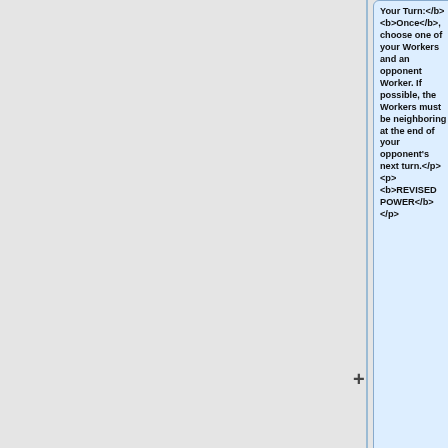Your Turn:</b> <b>Once</b>, choose one of your Workers and an opponent Worker. If possible, the Workers must be neighboring at the end of your opponent's next turn.</p><p> <b>REVISED POWER</b> </p>
==== Atalanta ====
<p><b>Your